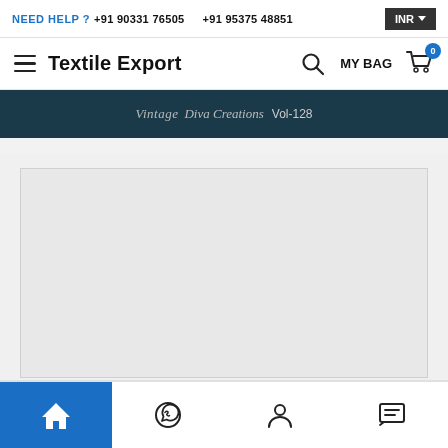NEED HELP ? +91 90331 76505   +91 95375 48851   INR
Textile Export  MY BAG 0
[Figure (screenshot): Dark teal banner with italic script text reading 'Vintage Diva Creations Vol-128']
[Figure (photo): Light gray product image placeholder box]
[Figure (screenshot): Bottom navigation bar with home (active/blue), WhatsApp, user/account, and chat/message icons]